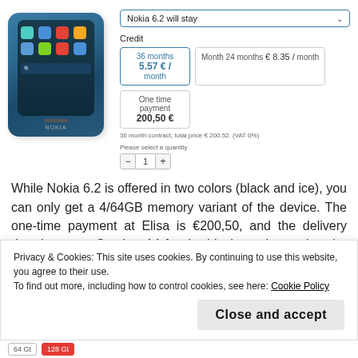[Figure (photo): Nokia 6.2 smartphone product image showing the front of the device with teal/blue color scheme and Android icons on screen]
Nokia 6.2 will stay
Credit
| 36 months
5.57 € / month | Month 24 months
€ 8.35 / month |
| One time payment
200,50 € |  |
36 month contract, total price € 200.52. (VAT 0%)
Please select a quantity
While Nokia 6.2 is offered in two colors (black and ice), you can only get a 4/64GB memory variant of the device. The one-time payment at Elisa is €200,50, and the delivery date is set on October 14 for the black version and at the end of October for ice version.
Privacy & Cookies: This site uses cookies. By continuing to use this website, you agree to their use.
To find out more, including how to control cookies, see here: Cookie Policy
Close and accept